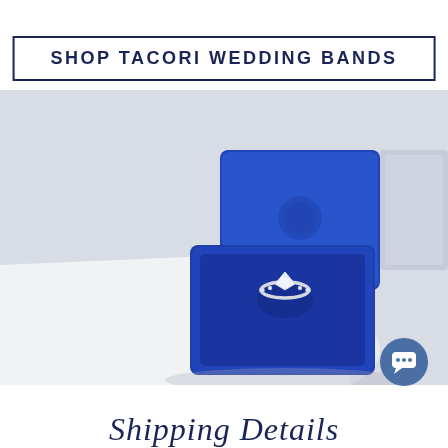SHOP TACORI WEDDING BANDS
[Figure (photo): A diamond engagement ring displayed in an open blue Tacori jewelry box, with the box lid open in the background. The ring features a round brilliant diamond center stone on a pavé band. The blue box has 'TACORI' embossed on the interior. Both pieces rest on a white surface.]
[Figure (other): Blue circular chat/support icon button in the bottom right area]
Shipping Details